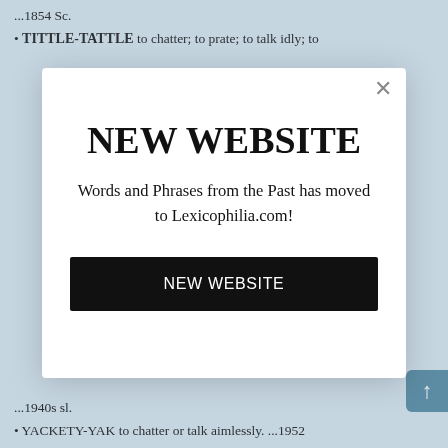...1854 Sc.
TITTLE-TATTLE to chatter; to prate; to talk idly; to
NEW WEBSITE
Words and Phrases from the Past has moved to Lexicophilia.com!
NEW WEBSITE
...1940s sl.
YACKETY-YAK to chatter or talk aimlessly. ...1952